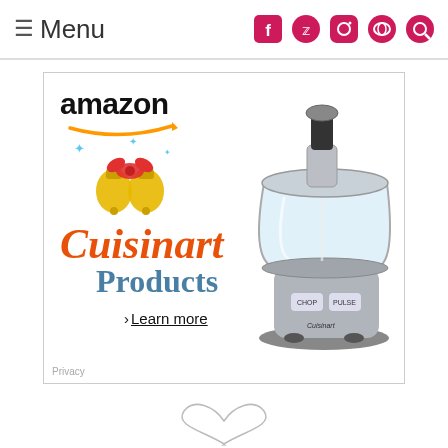≡ Menu
[Figure (screenshot): Amazon advertisement for Cuisinart Products featuring amazon logo, holiday bells decoration, orange italic Cuisinart text, blue Products text, Learn more link, and a Cuisinart food processor appliance image. Privacy text at bottom left.]
[Figure (illustration): Decorative swirl/flourish at the bottom of the page]